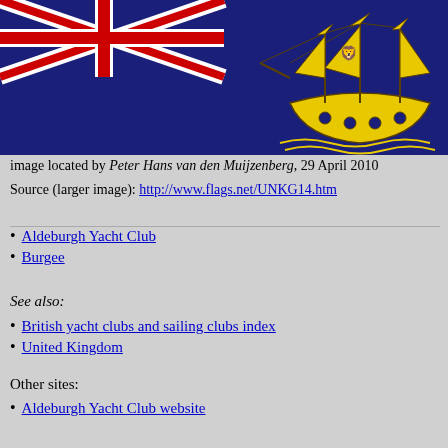[Figure (illustration): Blue ensign flag with Union Jack in top-left canton and yellow sailing ship emblem on right side — Aldeburgh Yacht Club burgee flag]
image located by Peter Hans van den Muijzenberg, 29 April 2010
Source (larger image): http://www.flags.net/UNKG14.htm
Aldeburgh Yacht Club
Burgee
See also:
British yacht clubs and sailing clubs index
United Kingdom
Other sites:
Aldeburgh Yacht Club website